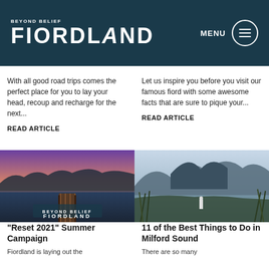Beyond Belief Fiordland
With all good road trips comes the perfect place for you to lay your head, recoup and recharge for the next...
READ ARTICLE
Let us inspire you before you visit our famous fiord with some awesome facts that are sure to pique your...
READ ARTICLE
[Figure (photo): A wooden jetty extending into a calm lake at dusk/sunset with mountains in the background, Fiordland logo overlay]
[Figure (photo): A person standing near wetland vegetation with dramatic mountain peaks and fiord in the background]
"Reset 2021" Summer Campaign
11 of the Best Things to Do in Milford Sound
Fiordland is laying out the
There are so many